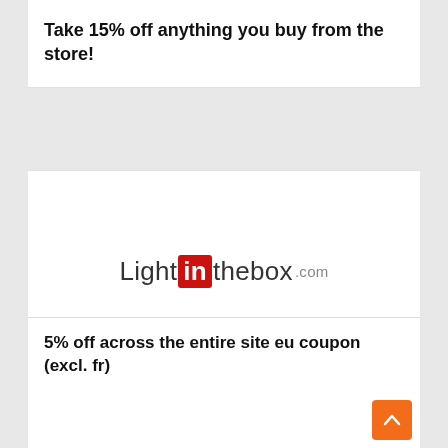Take 15% off anything you buy from the store!
[Figure (logo): LightInTheBox.com logo with 'in' in a red rounded rectangle]
5% off across the entire site eu coupon (excl. fr)